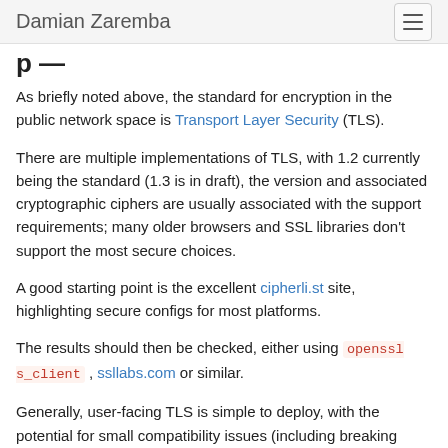Damian Zaremba
p —
As briefly noted above, the standard for encryption in the public network space is Transport Layer Security (TLS).
There are multiple implementations of TLS, with 1.2 currently being the standard (1.3 is in draft), the version and associated cryptographic ciphers are usually associated with the support requirements; many older browsers and SSL libraries don't support the most secure choices.
A good starting point is the excellent cipherli.st site, highlighting secure configs for most platforms.
The results should then be checked, either using openssl s_client , ssllabs.com or similar.
Generally, user-facing TLS is simple to deploy, with the potential for small compatibility issues (including breaking certain browsers).
The direction for Google Chrome and others is to start displaying HTTP sites in the same manner as invalid SSL is currently shown (red bars or similar), so it's highly advisable even if you don't